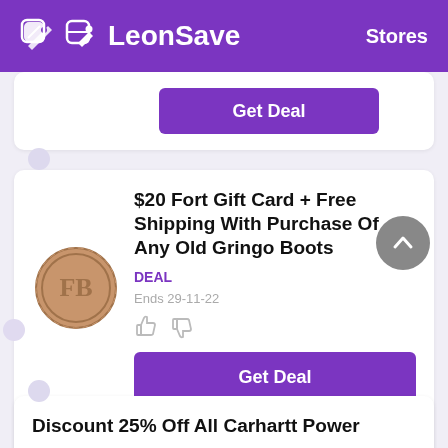LeonSave   Stores
Get Deal
$20 Fort Gift Card + Free Shipping With Purchase Of Any Old Gringo Boots
DEAL
Ends 29-11-22
Get Deal
Discount 25% Off All Carhartt Power
DEAL